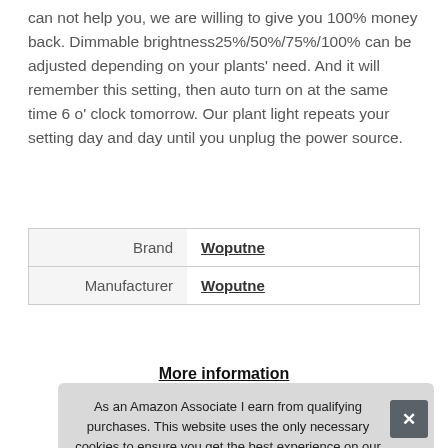can not help you, we are willing to give you 100% money back. Dimmable brightness25%/50%/75%/100% can be adjusted depending on your plants' need. And it will remember this setting, then auto turn on at the same time 6 o' clock tomorrow. Our plant light repeats your setting day and day until you unplug the power source.
| Brand | Woputne |
| Manufacturer | Woputne |
More information
As an Amazon Associate I earn from qualifying purchases. This website uses the only necessary cookies to ensure you get the best experience on our website. More information